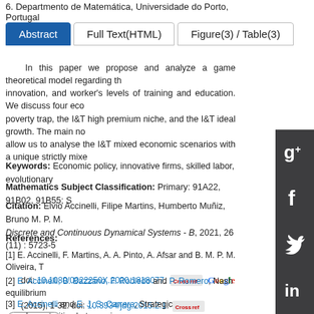6. Departmento de Matemática, Universidade do Porto, Portugal
Abstract | Full Text(HTML) | Figure(3) / Table(3)
In this paper we propose and analyze a game theoretical model regarding th... innovation, and worker's levels of training and education. We discuss four eco... poverty trap, the I&T high premium niche, and the I&T ideal growth. The main n... allow us to analyse the I&T mixed economic scenarios with a unique strictly mixe...
Keywords: Economic policy, innovative firms, skilled labor, evolutionary...
Mathematics Subject Classification: Primary: 91A22, 91B02, 91B55; S...
Citation: Elvio Accinelli, Filipe Martins, Humberto Muñiz, Bruno M. P. M. ... Discrete and Continuous Dynamical Systems - B, 2021, 26 (11) : 5723-5...
References:
[1] E. Accinelli, F. Martins, A. A. Pinto, A. Afsar and B. M. P. M. Oliveira, T... doi: 10.1080/0022250X.2020.1818077.
[2] E. Accinelli, B. Bazzano, F. Robledo and P. Romero, Nash equilibrium... (2015), 1-32. doi: 10.3934/jdg.2015.2.1.
[3] E. Accinelli and E. J. S. Carrera, Strategic complementarities between innova... Economic Dynamics, 22 (2011), 30-40. doi: 10.1016/j.strueco.2010.11.004.
[4] E. Accinelli, E. S. Carrera, L. Policardo and O. Salas, Free mobility of capital... (2019), 179-194. doi: 10.3934/jdg.2019013.